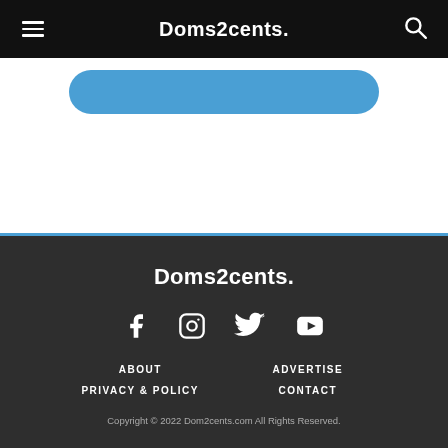Doms2cents.
[Figure (other): Blue rounded button at top of content area]
Doms2cents.
[Figure (other): Social media icons: Facebook, Instagram, Twitter, YouTube]
ABOUT
ADVERTISE
PRIVACY & POLICY
CONTACT
Copyright © 2022 Dom2cents.com All Rights Reserved.